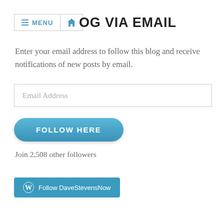MENU  [home icon]  FOLLOW BLOG VIA EMAIL
FOLLOW BLOG VIA EMAIL
Enter your email address to follow this blog and receive notifications of new posts by email.
[Figure (other): Email address input field with placeholder text 'Email Address']
[Figure (other): Blue rounded button labeled 'FOLLOW HERE']
Join 2,508 other followers
[Figure (other): WordPress follow button labeled 'Follow DaveStevensNow' with WordPress logo]